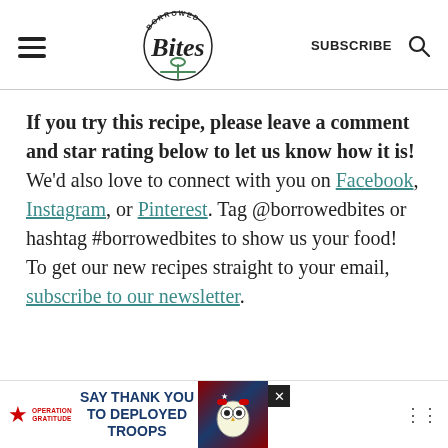Borrowed Bites — SUBSCRIBE
If you try this recipe, please leave a comment and star rating below to let us know how it is! We'd also love to connect with you on Facebook, Instagram, or Pinterest. Tag @borrowedbites or hashtag #borrowedbites to show us your food! To get our new recipes straight to your email, subscribe to our newsletter.
[Figure (infographic): Advertisement banner: Operation Gratitude — SAY THANK YOU TO DEPLOYED TROOPS]